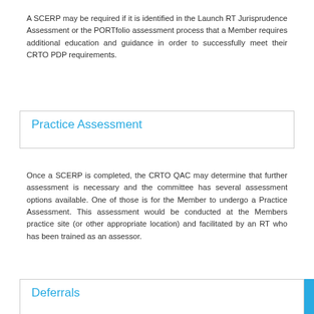A SCERP may be required if it is identified in the Launch RT Jurisprudence Assessment or the PORTfolio assessment process that a Member requires additional education and guidance in order to successfully meet their CRTO PDP requirements.
Practice Assessment
Once a SCERP is completed, the CRTO QAC may determine that further assessment is necessary and the committee has several assessment options available. One of those is for the Member to undergo a Practice Assessment. This assessment would be conducted at the Members practice site (or other appropriate location) and facilitated by an RT who has been trained as an assessor.
Deferrals